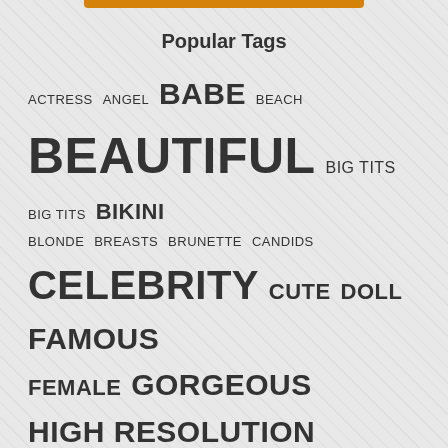Popular Tags
ACTRESS ANGEL BABE BEACH BEAUTIFUL BIG TITS BIG TITS BIKINI BLONDE BREASTS BRUNETTE CANDIDS CELEBRITY CUTE DOLL FAMOUS FEMALE GORGEOUS HIGH RESOLUTION HOLLYWOOD HOT INTERNATIONAL LOS ANGELES MAGAZINE MEDIUM TITS MODEL NICE NUDE NUDE SCENE PAPARAZZI PARTY PHOTOSHOOT PL1 PL2 PL3 POSING HOT PRETTY SEX SEX SCENE SEXY STUNNING TITS TOPLES TOPLESS USA